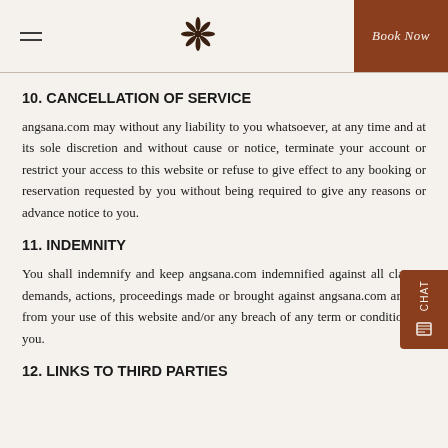Book Now
10. CANCELLATION OF SERVICE
angsana.com may without any liability to you whatsoever, at any time and at its sole discretion and without cause or notice, terminate your account or restrict your access to this website or refuse to give effect to any booking or reservation requested by you without being required to give any reasons or advance notice to you.
11. INDEMNITY
You shall indemnify and keep angsana.com indemnified against all claims, demands, actions, proceedings made or brought against angsana.com arising from your use of this website and/or any breach of any term or condition by you.
12. LINKS TO THIRD PARTIES